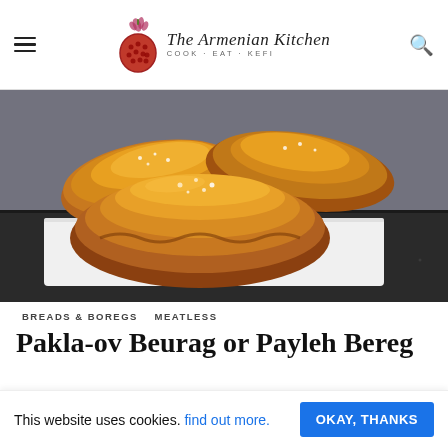The Armenian Kitchen — COOK · EAT · KEFI
[Figure (photo): Golden-brown baked Armenian boregs (pastries) on a white rectangular plate, shown on a dark granite countertop.]
BREADS & BOREGS   MEATLESS
Pakla-ov Beurag or Payleh Bereg
This website uses cookies. find out more. OKAY, THANKS